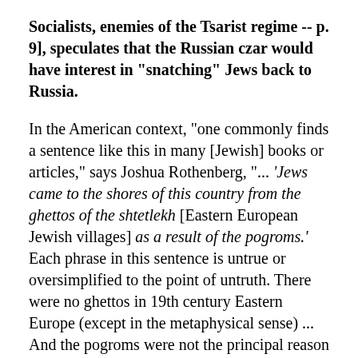Socialists, enemies of the Tsarist regime -- p. 9], speculates that the Russian czar would have interest in "snatching" Jews back to Russia.
In the American context, "one commonly finds a sentence like this in many [Jewish] books or articles," says Joshua Rothenberg, "... 'Jews came to the shores of this country from the ghettos of the shtetlekh [Eastern European Jewish villages] as a result of the pogroms.' Each phrase in this sentence is untrue or oversimplified to the point of untruth. There were no ghettos in 19th century Eastern Europe (except in the metaphysical sense) ... And the pogroms were not the principal reason for emigration;